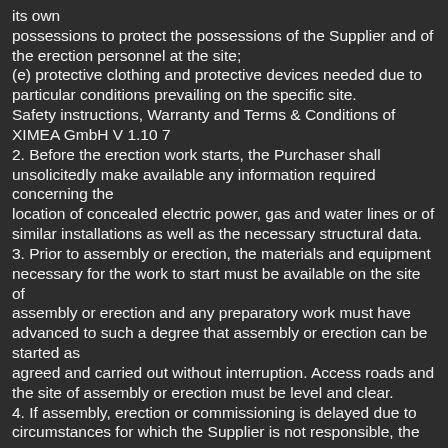its own possessions to protect the possessions of the Supplier and of the erection personnel at the site; (e) protective clothing and protective devices needed due to particular conditions prevailing on the specific site. Safety instructions, Warranty and Terms & Conditions of XIMEA GmbH V 1.10 7 2. Before the erection work starts, the Purchaser shall unsolicitedly make available any information required concerning the location of concealed electric power, gas and water lines or of similar installations as well as the necessary structural data. 3. Prior to assembly or erection, the materials and equipment necessary for the work to start must be available on the site of assembly or erection and any preparatory work must have advanced to such a degree that assembly or erection can be started as agreed and carried out without interruption. Access roads and the site of assembly or erection must be level and clear. 4. If assembly, erection or commissioning is delayed due to circumstances for which the Supplier is not responsible, the